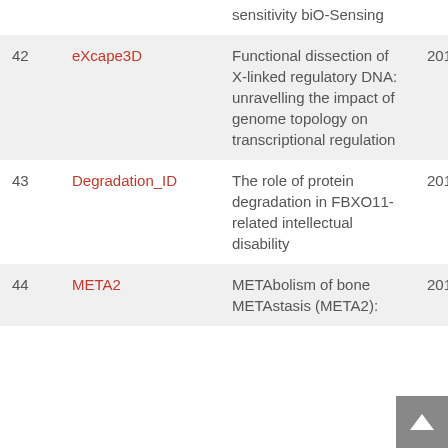| # | Name | Description | Year |
| --- | --- | --- | --- |
|  |  | sensitivity biO-Sensing |  |
| 42 | eXcape3D | Functional dissection of X-linked regulatory DNA: unravelling the impact of genome topology on transcriptional regulation | 201 |
| 43 | Degradation_ID | The role of protein degradation in FBXO11-related intellectual disability | 201 |
| 44 | META2 | METAbolism of bone METAstasis (META2): | 201 |